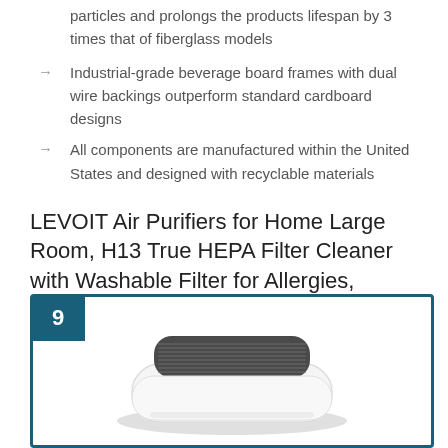particles and prolongs the products lifespan by 3 times that of fiberglass models
Industrial-grade beverage board frames with dual wire backings outperform standard cardboard designs
All components are manufactured within the United States and designed with recyclable materials
LEVOIT Air Purifiers for Home Large Room, H13 True HEPA Filter Cleaner with Washable Filter for Allergies, Smoke, Dust, Pollen, Quiet Odor Eliminators for Bedroom, Pet Hair Remover, Vital 100, White
[Figure (photo): Product image of LEVOIT Vital 100 air purifier in white with gray grille top, shown inside a teal-bordered box with number 9 badge]